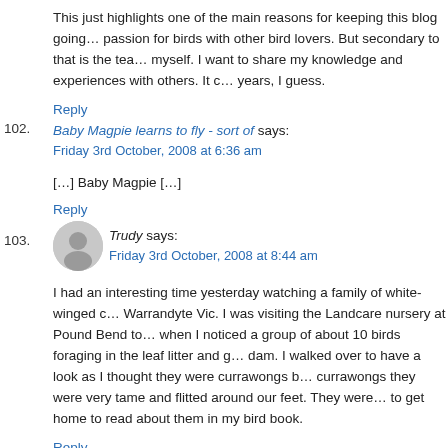This just highlights one of the main reasons for keeping this blog going… passion for birds with other bird lovers. But secondary to that is the tea… myself. I want to share my knowledge and experiences with others. It c… years, I guess.
Reply
102. Baby Magpie learns to fly - sort of says:
Friday 3rd October, 2008 at 6:36 am
[…] Baby Magpie […]
Reply
103. Trudy says:
Friday 3rd October, 2008 at 8:44 am
I had an interesting time yesterday watching a family of white-winged c… Warrandyte Vic. I was visiting the Landcare nursery at Pound Bend to… when I noticed a group of about 10 birds foraging in the leaf litter and g… dam. I walked over to have a look as I thought they were currawongs b… currawongs they were very tame and flitted around our feet. They were… to get home to read about them in my bird book.
Reply